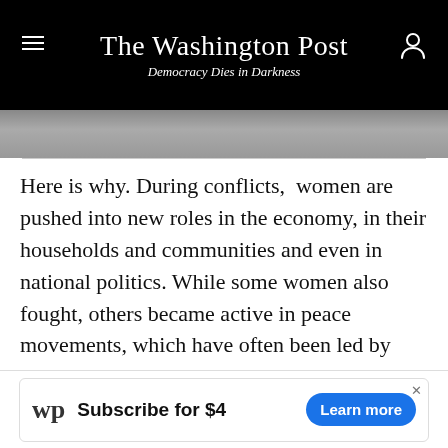The Washington Post — Democracy Dies in Darkness
[Figure (photo): Partial image visible below the header bar, cropped at top]
Here is why. During conflicts, women are pushed into new roles in the economy, in their households and communities and even in national politics. While some women also fought, others became active in peace movements, which have often been led by women or involved large numbers of women – and then use the transition to peace as a time to demand equality.
In Africa, for instance, women were among those most engaged in behind-the-scenes peacemaking, pressuring
[Figure (screenshot): Washington Post subscription ad banner: 'Subscribe for $4' with Learn more button]